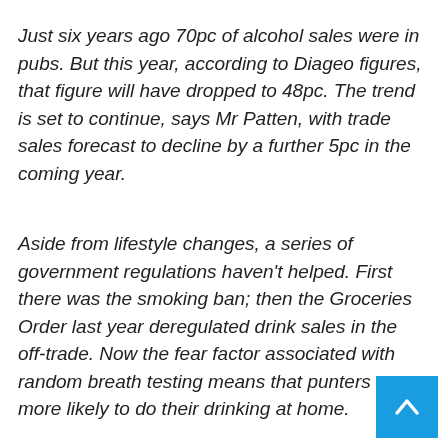Just six years ago 70pc of alcohol sales were in pubs. But this year, according to Diageo figures, that figure will have dropped to 48pc. The trend is set to continue, says Mr Patten, with trade sales forecast to decline by a further 5pc in the coming year.
Aside from lifestyle changes, a series of government regulations haven't helped. First there was the smoking ban; then the Groceries Order last year deregulated drink sales in the off-trade. Now the fear factor associated with random breath testing means that punters are more likely to do their drinking at home.
[Figure (other): Blue scroll-to-top button with white upward chevron arrow in bottom-right corner]